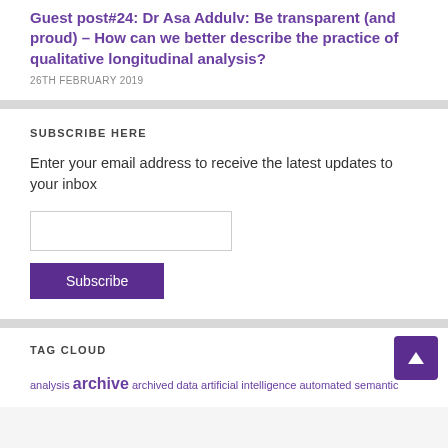Guest post#24: Dr Asa Addulv: Be transparent (and proud) – How can we better describe the practice of qualitative longitudinal analysis?
26TH FEBRUARY 2019
SUBSCRIBE HERE
Enter your email address to receive the latest updates to your inbox
TAG CLOUD
analysis archive archived data artificial intelligence automated semantic